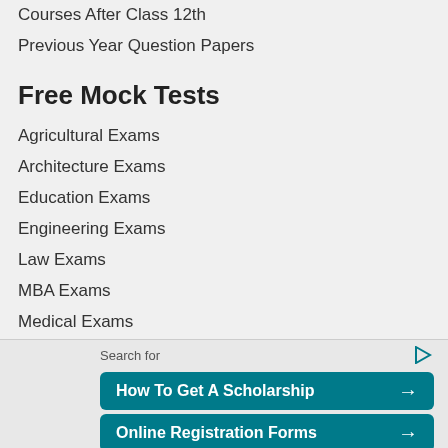Courses After Class 12th
Previous Year Question Papers
Free Mock Tests
Agricultural Exams
Architecture Exams
Education Exams
Engineering Exams
Law Exams
MBA Exams
Medical Exams
Pharmacy Exams
Science Exams
More Mock Tests
[Figure (screenshot): Yahoo Search sponsored ad section with 'Search for' label and two teal buttons: 'How To Get A Scholarship' and 'Online Registration Forms' with arrows, and 'Yahoo! Search | Sponsored' footer.]